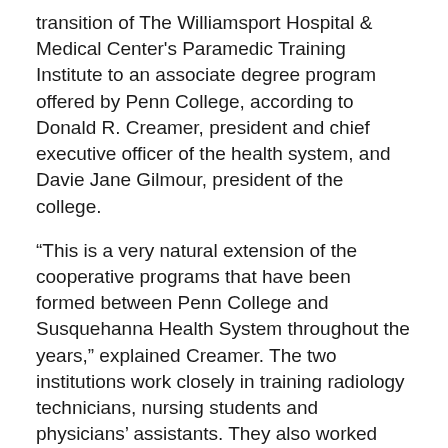transition of The Williamsport Hospital & Medical Center's Paramedic Training Institute to an associate degree program offered by Penn College, according to Donald R. Creamer, president and chief executive officer of the health system, and Davie Jane Gilmour, president of the college.
“This is a very natural extension of the cooperative programs that have been formed between Penn College and Susquehanna Health System throughout the years,” explained Creamer. The two institutions work closely in training radiology technicians, nursing students and physicians’ assistants. They also worked together to develop the community dental clinic, where selected Penn College dental hygiene students now do a part of the clinical education.
The Paramedic Training Institute was established by The Williamsport Hospital in 1979, in response to the community’s acute need for paramedic professionals. Upon successful completion of the current curriculum, the